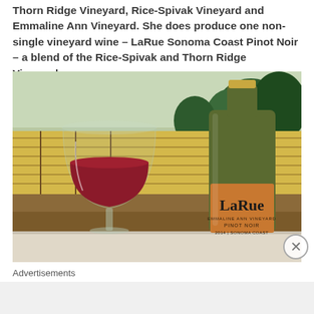Thorn Ridge Vineyard, Rice-Spivak Vineyard and Emmaline Ann Vineyard. She does produce one non-single vineyard wine – LaRue Sonoma Coast Pinot Noir – a blend of the Rice-Spivak and Thorn Ridge Vineyards.
[Figure (photo): A glass of red wine and a bottle of LaRue Emmaline Ann Vineyard Pinot Noir 2014 Sonoma Coast set against a backdrop of a vineyard with yellow autumn vines and trees]
Advertisements